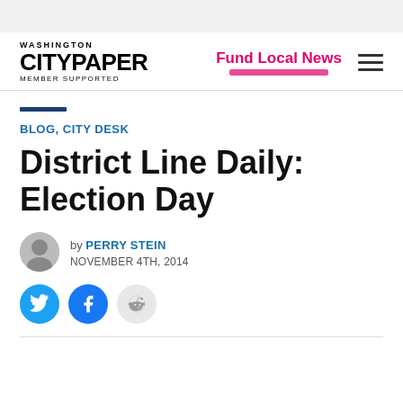Washington City Paper - Member Supported | Fund Local News
BLOG, CITY DESK
District Line Daily: Election Day
by PERRY STEIN - NOVEMBER 4TH, 2014